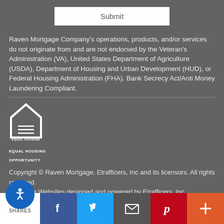Submit
Raven Mortgage Company's operations, products, and/or services do not originate from and are not endorsed by the Veteran's Administration (VA), United States Department of Agriculture (USDA), Department of Housing and Urban Development (HUD), or Federal Housing Administration (FHA). Bank Secrecy Act/Anti Money Laundering Compliant.
[Figure (logo): Equal Housing Opportunity logo with house icon and text EQUAL HOUSING OPPORTUNITY]
Copyright © Raven Mortgage, Etrafficers, Inc and its licensors. All rights reserved.
Mortgage Websites designed and powered by Etrafficers, Inc.
SHARES | Facebook | Twitter | Email | Pinterest | More